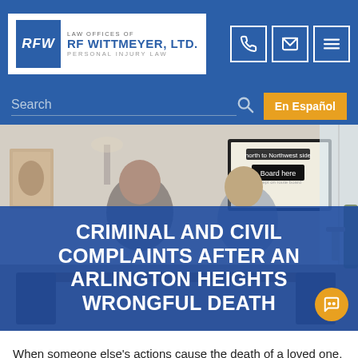LAW OFFICES OF RF WITTMEYER, LTD. PERSONAL INJURY LAW
Search
En Español
[Figure (photo): Two people sitting at a table in a room, a man in a dark suit leaning forward and a woman with light hair, with a framed print on the wall behind them.]
CRIMINAL AND CIVIL COMPLAINTS AFTER AN ARLINGTON HEIGHTS WRONGFUL DEATH
When someone else's actions cause the death of a loved one, options for the surviving family often include both criminal and civil complaints.